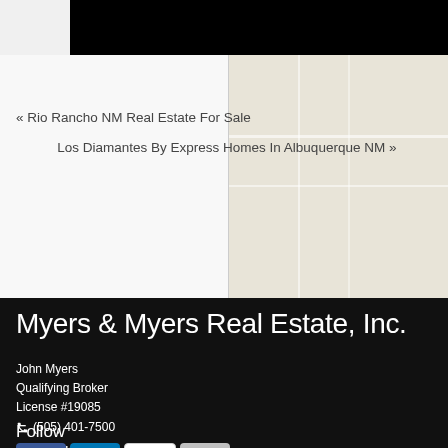[Figure (screenshot): Black bar at top of page, partial map image in upper right area]
« Rio Rancho NM Real Estate For Sale
Los Diamantes By Express Homes In Albuquerque NM »
Myers & Myers Real Estate, Inc.
John Myers
Qualifying Broker
License #19085
📞 (505) 401-7500
📱 (505) 401-7500
✉ myersandmyersrealestate@gmail.com
Follow
[Figure (illustration): Social media icons: Facebook, LinkedIn, YouTube, Email]